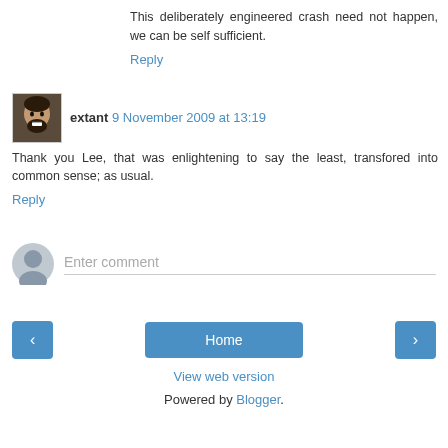This deliberately engineered crash need not happen, we can be self sufficient.
Reply
extant  9 November 2009 at 13:19
Thank you Lee, that was enlightening to say the least, transfored into common sense; as usual.
Reply
Enter comment
Home
View web version
Powered by Blogger.